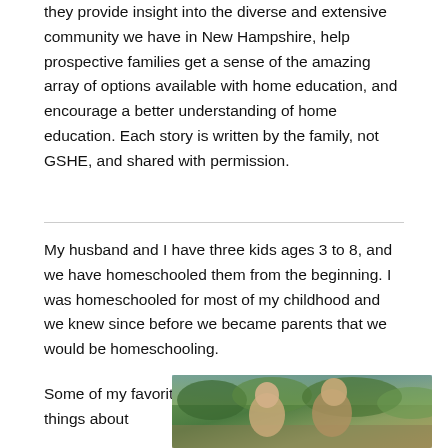they provide insight into the diverse and extensive community we have in New Hampshire, help prospective families get a sense of the amazing array of options available with home education, and encourage a better understanding of home education. Each story is written by the family, not GSHE, and shared with permission.
My husband and I have three kids ages 3 to 8, and we have homeschooled them from the beginning. I was homeschooled for most of my childhood and we knew since before we became parents that we would be homeschooling.
Some of my favorite things about
[Figure (photo): Photo of children outdoors with blurred green and earthy background]